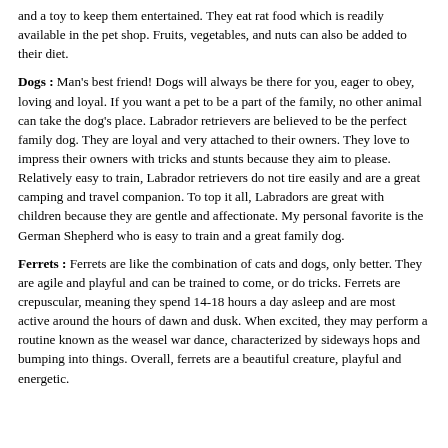and a toy to keep them entertained. They eat rat food which is readily available in the pet shop. Fruits, vegetables, and nuts can also be added to their diet.
Dogs : Man's best friend! Dogs will always be there for you, eager to obey, loving and loyal. If you want a pet to be a part of the family, no other animal can take the dog's place. Labrador retrievers are believed to be the perfect family dog. They are loyal and very attached to their owners. They love to impress their owners with tricks and stunts because they aim to please. Relatively easy to train, Labrador retrievers do not tire easily and are a great camping and travel companion. To top it all, Labradors are great with children because they are gentle and affectionate. My personal favorite is the German Shepherd who is easy to train and a great family dog.
Ferrets : Ferrets are like the combination of cats and dogs, only better. They are agile and playful and can be trained to come, or do tricks. Ferrets are crepuscular, meaning they spend 14-18 hours a day asleep and are most active around the hours of dawn and dusk. When excited, they may perform a routine known as the weasel war dance, characterized by sideways hops and bumping into things. Overall, ferrets are a beautiful creature, playful and energetic.